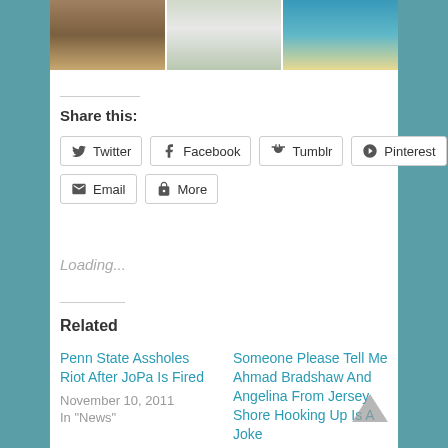[Figure (photo): Three beach/outdoor photos side by side at the top of the page]
Share this:
Twitter  Facebook  Tumblr  Pinterest  Email  More
Loading...
Related
Penn State Assholes Riot After JoPa Is Fired
November 10, 2011
In "News"
Someone Please Tell Me Ahmad Bradshaw And Angelina From Jersey Shore Hooking Up Is A Joke
February 10, 2012